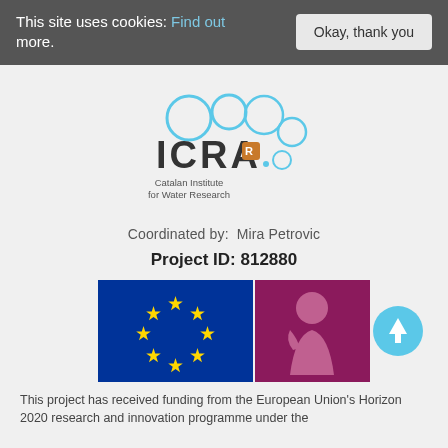This site uses cookies: Find out more.
Okay, thank you
[Figure (logo): ICRA - Catalan Institute for Water Research logo with blue circles and orange shield emblem]
Coordinated by: Mira Petrovic
Project ID: 812880
[Figure (illustration): European Union flag (blue with yellow stars) and Marie Curie actions logo (purple with figure silhouette), plus a blue scroll-to-top button with upward arrow]
This project has received funding from the European Union's Horizon 2020 research and innovation programme under the